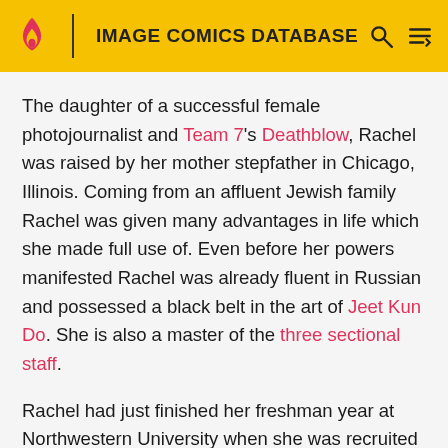IMAGE COMICS DATABASE
The daughter of a successful female photojournalist and Team 7's Deathblow, Rachel was raised by her mother stepfather in Chicago, Illinois. Coming from an affluent Jewish family Rachel was given many advantages in life which she made full use of. Even before her powers manifested Rachel was already fluent in Russian and possessed a black belt in the art of Jeet Kun Do. She is also a master of the three sectional staff.
Rachel had just finished her freshman year at Northwestern University when she was recruited by Project Genesis which she was told was some sort of "enrichment program". After her powers manifested Rachel became a member of the DV8 team formed by